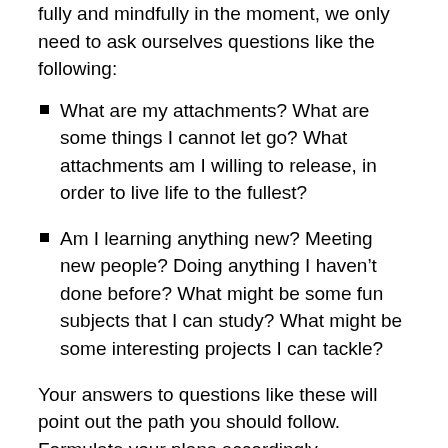fully and mindfully in the moment, we only need to ask ourselves questions like the following:
What are my attachments? What are some things I cannot let go? What attachments am I willing to release, in order to live life to the fullest?
Am I learning anything new? Meeting new people? Doing anything I haven't done before? What might be some fun subjects that I can study? What might be some interesting projects I can tackle?
Your answers to questions like these will point out the path you should follow. Formulate your plans accordingly.
As you follow your plan of action to live mindfully in the moment, you will find it easier and easier to stop dwelling in the past or worrying excessively about the future. As